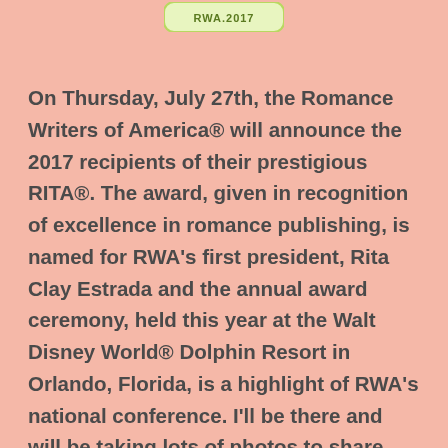[Figure (logo): RWA 2017 logo badge in green/yellow with text RWA.2017]
On Thursday, July 27th, the Romance Writers of America® will announce the 2017 recipients of their prestigious RITA®. The award, given in recognition of excellence in romance publishing, is named for RWA's first president, Rita Clay Estrada and the annual award ceremony, held this year at the Walt Disney World® Dolphin Resort in Orlando, Florida, is a highlight of RWA's national conference. I'll be there and will be taking lots of photos to share with all of you after the conference. If you want to follow along with the announcements of the winners on the 27th, you